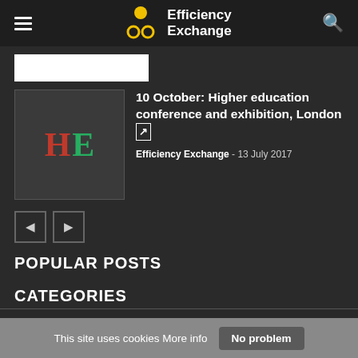Efficiency Exchange
[Figure (screenshot): White search/input bar]
[Figure (photo): HE logo thumbnail image with H in red and E in green on dark background]
10 October: Higher education conference and exhibition, London
Efficiency Exchange - 13 July 2017
[Figure (other): Pagination buttons: left arrow and right arrow]
POPULAR POSTS
CATEGORIES
Procurement 117
This site uses cookies More info   No problem